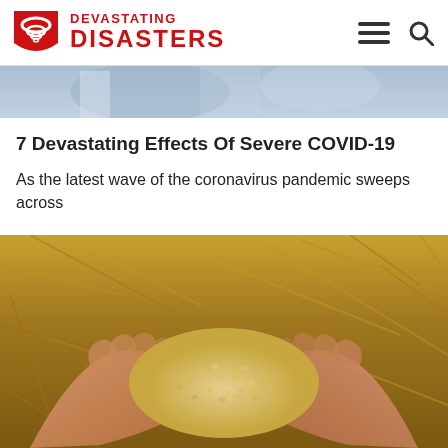DEVASTATING DISASTERS
[Figure (photo): Partial top image strip showing a blurred person/lab scene in grayscale/blue tones]
7 Devastating Effects Of Severe COVID-19
As the latest wave of the coronavirus pandemic sweeps across
[Figure (photo): Two hands cupped together holding grain seeds with a straw/hay field background in golden tones]